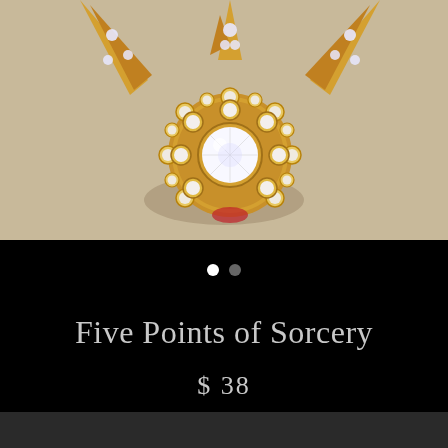[Figure (photo): Close-up photo of a gold-toned jewelry piece (star/pentagram shaped) encrusted with clear rhinestones/crystals on a beige/cream background. The piece features a large central crystal surrounded by smaller diamonds in a floral cluster setting.]
Five Points of Sorcery
$ 38